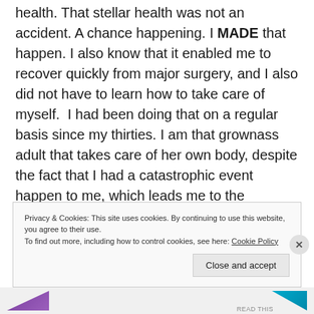health. That stellar health was not an accident. A chance happening. I MADE that happen. I also know that it enabled me to recover quickly from major surgery, and I also did not have to learn how to take care of myself. I had been doing that on a regular basis since my thirties. I am that grownass adult that takes care of her own body, despite the fact that I had a catastrophic event happen to me, which leads me to the following paragraph....
Privacy & Cookies: This site uses cookies. By continuing to use this website, you agree to their use.
To find out more, including how to control cookies, see here: Cookie Policy
Close and accept